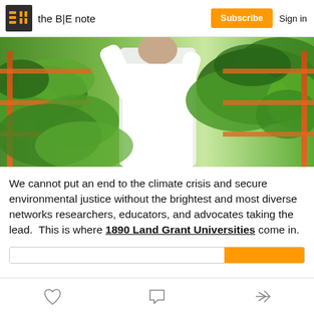the B|E note | Subscribe | Sign in
[Figure (photo): A person in a white lab coat and gloves working among rows of lush green leafy vegetables on orange shelving racks in an indoor vertical farm or greenhouse.]
We cannot put an end to the climate crisis and secure environmental justice without the brightest and most diverse networks researchers, educators, and advocates taking the lead.  This is where 1890 Land Grant Universities come in.